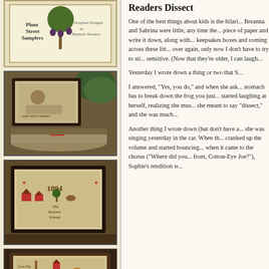[Figure (photo): Book cover for Plum Street Samplers, Original Designs by Paulette Stewart, with decorative tree and figs]
[Figure (photo): Cross stitch sampler pieces in dark frames with decorative pillows on a textured surface with greenery]
[Figure (photo): Cross stitch sampler in dark frame showing colonial house and figures labeled My Dearest Friend, on wooden tray]
[Figure (photo): Cross stitch sampler in dark wooden frame showing Love Thy Neighbor as Thyself with folk art motifs]
Readers Dissect
One of the best things about kids is the hilari... Breanna and Sabrina were little, any time the... piece of paper and write it down, along with... keepsakes boxes and coming across these litt... over again, only now I don't have to try to sti... sensitive. (Now that they're older, I can laugh...
Yesterday I wrote down a thing or two that S...
I answered, "Yes, you do," and when she ask... stomach has to break down the frog you just... started laughing at herself, realizing she mus... she meant to say "dissect," and she was much...
Another thing I wrote down (but don't have a... she was singing yesterday in the car. When th... cranked up the volume and started bouncing... when it came to the chorus ("Where did you... from, Cotton-Eye Joe?"), Sophie's rendition w...